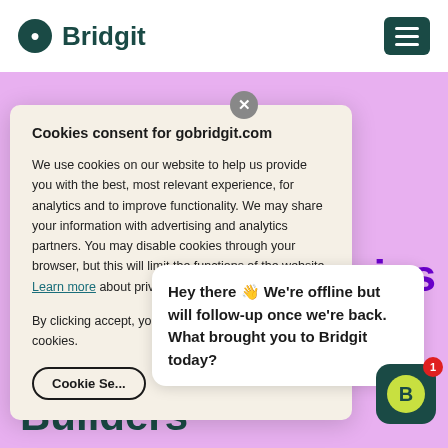[Figure (logo): Bridgit logo with dark teal circle icon and 'Bridgit' text, plus hamburger menu icon top right]
Cookies consent for gobridgit.com
We use cookies on our website to help us provide you with the best, most relevant experience, for analytics and to improve functionality. We may share your information with advertising and analytics partners. You may disable cookies through your browser, but this will limit the functions of the website. Learn more about privacy on our website.
By clicking accept, you consent to the use of all cookies.
Cookie Se...
Hey there 👋 We're offline but will follow-up once we're back. What brought you to Bridgit today?
series
Builders